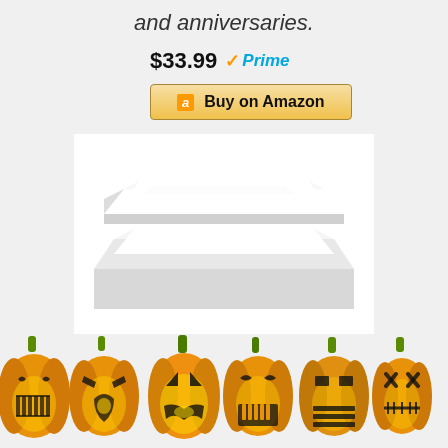and anniversaries.
$33.99 Prime
Buy on Amazon
[Figure (photo): Two white rectangular ceramic plates stacked on each other, product photo on white background]
[Figure (illustration): Row of 6 carved Halloween jack-o-lantern pumpkins with various facial expressions across the bottom of the image]